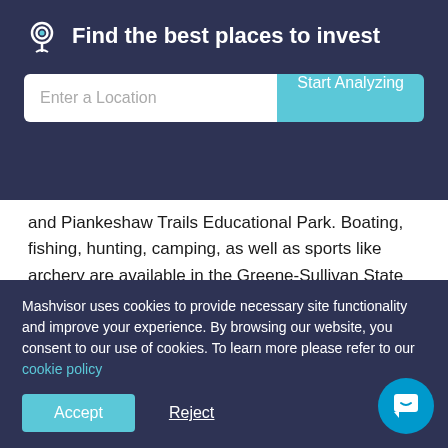Find the best places to invest
and Piankeshaw Trails Educational Park. Boating, fishing, hunting, camping, as well as sports like archery are available in the Greene-Sullivan State Forest.
Mashvisor stats on Airbnb single family homes in Linton, IN:
Number of Listings for Sale: 7
Mashvisor uses cookies to provide necessary site functionality and improve your experience. By browsing our website, you consent to our use of cookies. To learn more please refer to our cookie policy